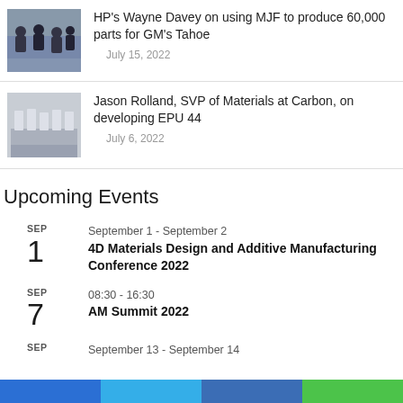[Figure (photo): Group of people at an event or trade show]
HP's Wayne Davey on using MJF to produce 60,000 parts for GM's Tahoe
July 15, 2022
[Figure (photo): 3D printed parts on a tray]
Jason Rolland, SVP of Materials at Carbon, on developing EPU 44
July 6, 2022
Upcoming Events
SEP 1
September 1 - September 2
4D Materials Design and Additive Manufacturing Conference 2022
SEP 7
08:30 - 16:30
AM Summit 2022
SEP
September 13 - September 14